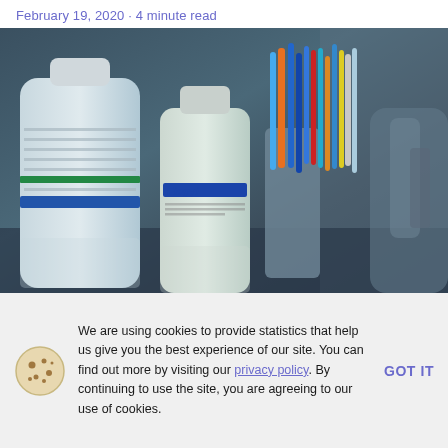February 19, 2020 · 4 minute read
[Figure (photo): Laboratory bench with medical/pharmaceutical bottles and syringes, including a Flagyl bottle in the foreground, with various pens and instruments in a holder in the background.]
We are using cookies to provide statistics that help us give you the best experience of our site. You can find out more by visiting our privacy policy. By continuing to use the site, you are agreeing to our use of cookies.
GOT IT